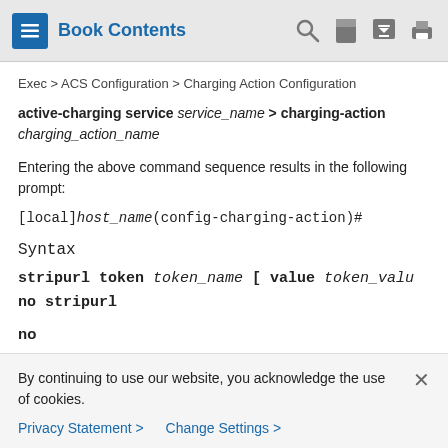Book Contents
Exec > ACS Configuration > Charging Action Configuration
active-charging service service_name > charging-action charging_action_name
Entering the above command sequence results in the following prompt:
[local]host_name(config-charging-action)#
Syntax
stripurl token token_name [ value token_value
no stripurl
no
By continuing to use our website, you acknowledge the use of cookies.
Privacy Statement > Change Settings >